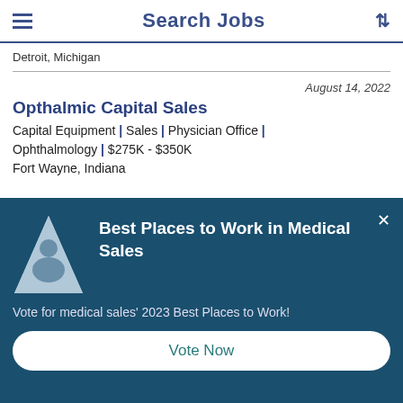Search Jobs
Detroit, Michigan
August 14, 2022
Opthalmic Capital Sales
Capital Equipment | Sales | Physician Office | Ophthalmology | $275K - $350K
Fort Wayne, Indiana
Best Places to Work in Medical Sales
Vote for medical sales' 2023 Best Places to Work!
Vote Now